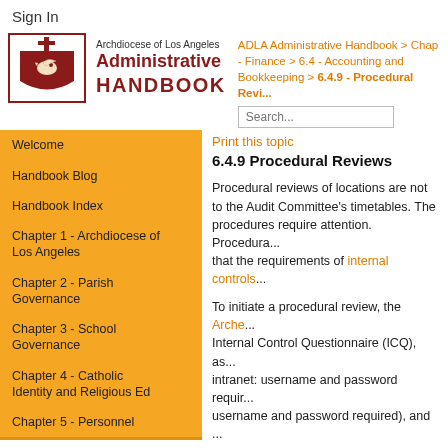Sign In
[Figure (logo): Archdiocese of Los Angeles Administrative Handbook logo with cross and dove emblem]
ADLA Administrative Handbook > Chapter - Finance > 6.4 - Accounting and Bookkeeping > 6.4.9 - Procedural Revi...
Search...
Welcome
Handbook Blog
Handbook Index
Chapter 1 - Archdiocese of Los Angeles
Chapter 2 - Parish Governance
Chapter 3 - School Governance
Chapter 4 - Catholic Identity and Religious Ed
Chapter 5 - Personnel
Chapter 6 - Finance
Chapter 7 - Facilities
Print this topic
6.4.9 Procedural Reviews
Procedural reviews of locations are not to the Audit Committee's timetables. The procedures require attention. Procedura... that the requirements of internal controls...
To initiate a procedural review, the Arche... Internal Control Questionnaire (ICQ), as... intranet: username and password requir... username and password required), and ... and password required). The ICQ must ... scheduled on-site visit. During the on-si... provided for these reviews.